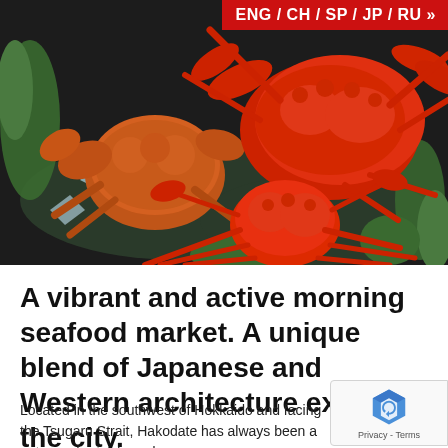[Figure (photo): Photo of large red crabs (snow crabs and a hairy crab) displayed on ice with green garnish against a dark background]
ENG / CH / SP / JP / RU »
A vibrant and active morning seafood market. A unique blend of Japanese and Western architecture exists in the city.
Located in the southwest of Hokkaido and facing the Tsugaru Strait, Hakodate has always been a gateway for trade and...